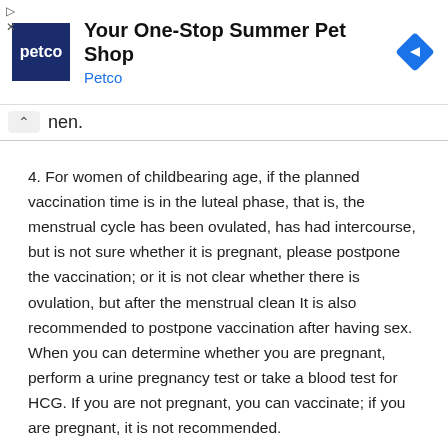[Figure (screenshot): Petco advertisement banner: logo with 'petco' text on dark blue background, headline 'Your One-Stop Summer Pet Shop', subtext 'Petco' in blue, and a blue navigation diamond icon on the right.]
nen.
4. For women of childbearing age, if the planned vaccination time is in the luteal phase, that is, the menstrual cycle has been ovulated, has had intercourse, but is not sure whether it is pregnant, please postpone the vaccination; or it is not clear whether there is ovulation, but after the menstrual clean It is also recommended to postpone vaccination after having sex. When you can determine whether you are pregnant, perform a urine pregnancy test or take a blood test for HCG. If you are not pregnant, you can vaccinate; if you are pregnant, it is not recommended.